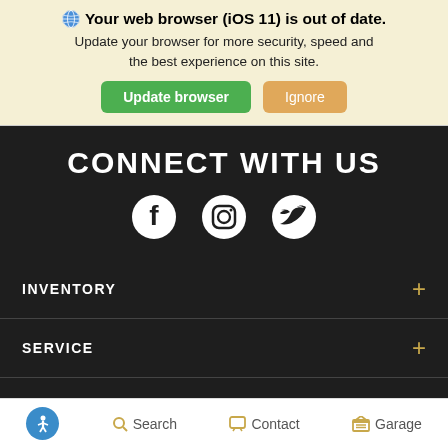🌐 Your web browser (iOS 11) is out of date. Update your browser for more security, speed and the best experience on this site.
Update browser | Ignore
CONNECT WITH US
[Figure (illustration): Social media icons: Facebook, Instagram, Twitter]
INVENTORY
SERVICE
FINANCING
Schedule Service | LIVE CHAT | TEXT
Search | Contact | Garage